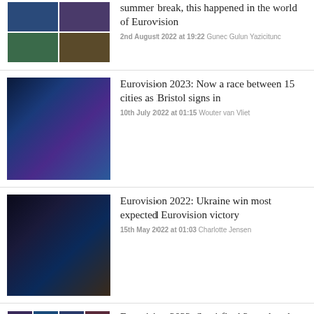[Figure (photo): Two-panel photo collage showing Eurovision-related images]
summer break, this happened in the world of Eurovision
2nd August 2022 at 19:22 Gunec Gulun Yazicitunc
[Figure (photo): Eurovision arena stage with colorful lights and large audience]
Eurovision 2023: Now a race between 15 cities as Bristol signs in
10th July 2022 at 01:15 Wouter van Vliet
[Figure (photo): Two performers on stage with blue stage lighting]
Eurovision 2022: Ukraine win most expected Eurovision victory
15th May 2022 at 01:03 Charlotte Jensen
[Figure (photo): Grid collage of multiple Eurovision performers and acts]
Eurovision 2022: Semi-final 2 result – these are the lucky qualifiers
12th May 2022 at 23:11 Charlotte Jensen